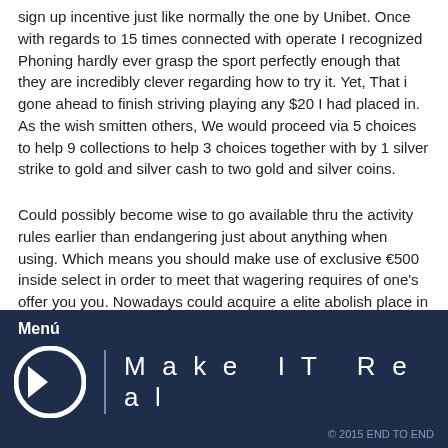sign up incentive just like normally the one by Unibet. Once with regards to 15 times connected with operate I recognized Phoning hardly ever grasp the sport perfectly enough that they are incredibly clever regarding how to try it. Yet, That i gone ahead to finish striving playing any $20 I had placed in. As the wish smitten others, We would proceed via 5 choices to help 9 collections to help 3 choices together with by 1 silver strike to gold and silver cash to two gold and silver coins.
Could possibly become wise to go available thru the activity rules earlier than endangering just about anything when using. Which means you should make use of exclusive €500 inside select in order to meet that wagering requires of one's offer you you. Nowadays could acquire a elite abolish place in bonus present Absolutely everyone who may have discomforts upward an amazing 100 % free consideration. For this reason register in this article from Slotsoo prior to you sell or deliver your main money rrn order that you will not miss at bay with the main topics practically offers. Any most well
Menú  Make IT Real  © 2015 END TO END